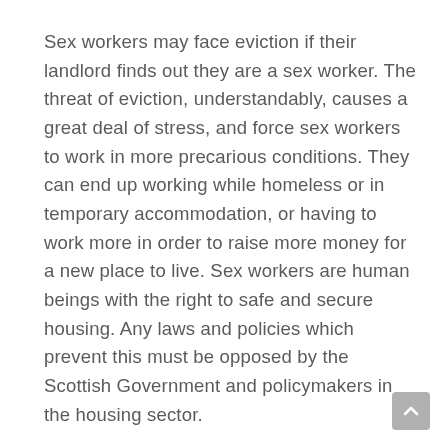Sex workers may face eviction if their landlord finds out they are a sex worker. The threat of eviction, understandably, causes a great deal of stress, and force sex workers to work in more precarious conditions. They can end up working while homeless or in temporary accommodation, or having to work more in order to raise more money for a new place to live. Sex workers are human beings with the right to safe and secure housing. Any laws and policies which prevent this must be opposed by the Scottish Government and policymakers in the housing sector.